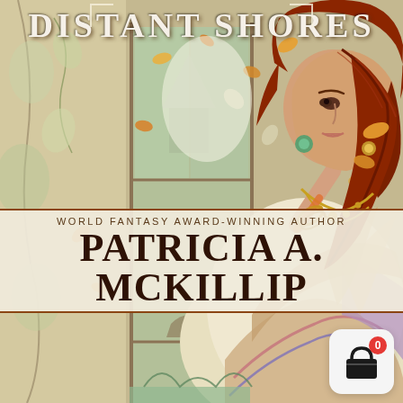DISTANT SHORES
[Figure (illustration): Fantasy book cover illustration showing a red-haired woman in ornate colorful clothing seated near a decorative glass cabinet with autumn leaves swirling around her]
WORLD FANTASY AWARD-WINNING AUTHOR
PATRICIA A. McKILLIP